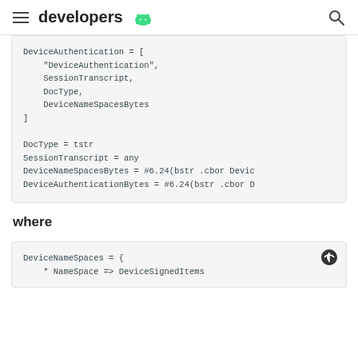developers
[Figure (screenshot): Code block showing DeviceAuthentication CDDL definition with DeviceAuthentication array containing string, SessionTranscript, DocType, DeviceNameSpacesBytes, plus type definitions for DocType, SessionTranscript, DeviceNameSpacesBytes, DeviceAuthenticationBytes]
where
[Figure (screenshot): Code block showing DeviceNameSpaces CDDL definition with NameSpace => DeviceSignedItems mapping]